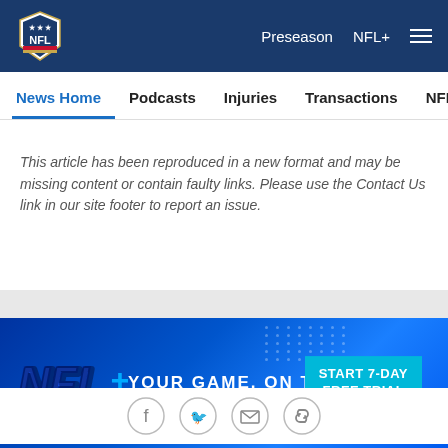[Figure (screenshot): NFL website header with dark navy blue background, NFL shield logo on the left, and navigation links 'Preseason', 'NFL+', and hamburger menu icon on the right in white text]
News Home   Podcasts   Injuries   Transactions   NFL Writers   Se
This article has been reproduced in a new format and may be missing content or contain faulty links. Please use the Contact Us link in our site footer to report an issue.
[Figure (infographic): NFL+ advertisement banner with blue gradient background, NFL+ 3D logo on the left, tagline 'YOUR GAME. ON THE GO.' in white, and a cyan 'START 7-DAY FREE TRIAL' button on the right with dot pattern decoration]
Related Content
[Figure (infographic): Social sharing icons row: Facebook, Twitter, Email, and Link icons as circular outlined buttons]